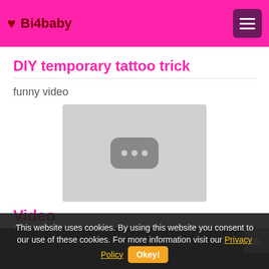♥ Bi4baby
DIY temporary tattoo trick
funny video
[Figure (screenshot): Video placeholder thumbnail showing a grey rectangle with a dark rounded play/loading icon containing three dots]
Video
[Figure (screenshot): Dark video strip area at the bottom of the page]
This website uses cookies. By using this website you consent to our use of these cookies. For more information visit our Privacy Policy  Okey!